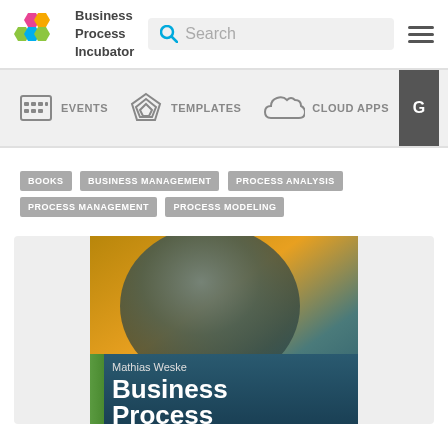Business Process Incubator — Search — Menu
[Figure (screenshot): Navigation bar with icons for EVENTS, TEMPLATES, CLOUD APPS, and a partial G icon]
BOOKS
BUSINESS MANAGEMENT
PROCESS ANALYSIS
PROCESS MANAGEMENT
PROCESS MODELING
[Figure (photo): Book cover: 'Business Process...' by Mathias Weske. Cover shows abstract orange/teal background. Title text: Business Process (visible). Author: Mathias Weske.]